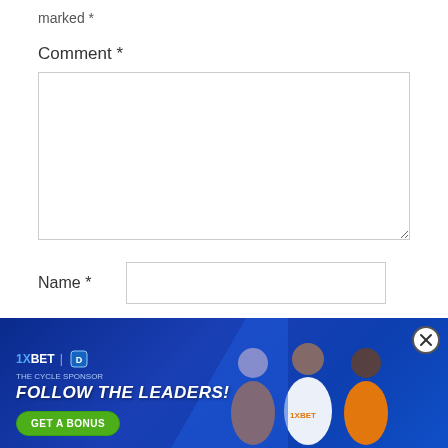marked *
Comment *
[Figure (screenshot): Comment text area input field, empty, with resize handle at bottom right]
Name *
[Figure (screenshot): Name text input field, empty]
Email *
[Figure (screenshot): Email text input field, partially visible]
[Figure (infographic): 1XBET advertisement banner with blue background, football players in orange jerseys, text FOLLOW THE LEADERS! and GET A BONUS button, close X button]